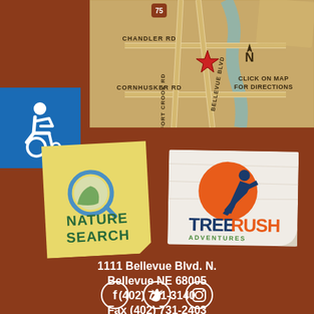[Figure (map): Street map showing Bellevue Blvd, Fort Crook Rd, Chandler Rd, Cornhusker Rd, and Route 75 with red star marker and north arrow. Text reads CLICK ON MAP FOR DIRECTIONS.]
[Figure (illustration): Blue accessibility wheelchair icon on blue square background]
[Figure (logo): Nature Search logo on yellow sticky-note style background with magnifying glass and leaf icon]
[Figure (logo): TreeRush Adventures logo on worn white card background with orange sun and dark blue running figure]
1111 Bellevue Blvd. N.
Bellevue NE 68005
(402) 731-3140
Fax (402) 731-2403
info@fontenelleforest.org
[Figure (illustration): Three white social media icons in circles: Facebook, Twitter, Instagram]